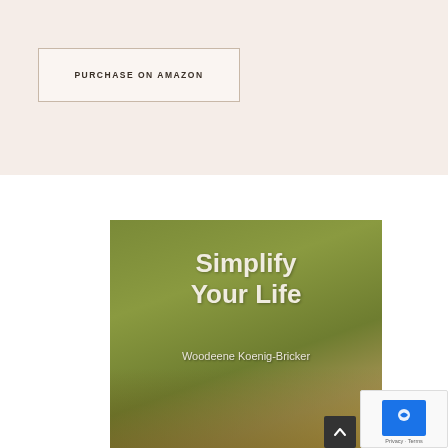PURCHASE ON AMAZON
[Figure (photo): Book cover for 'Simplify Your Life' by Woodeene Koenig-Bricker. Olive green background with a scenic path/landscape image at the bottom. Bold white title text 'Simplify Your Life' and author name 'Woodeene Koenig-Bricker' in lighter text below.]